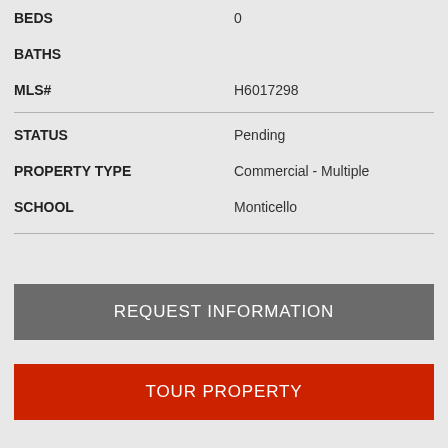| Field | Value |
| --- | --- |
| BEDS | 0 |
| BATHS |  |
| MLS# | H6017298 |
| STATUS | Pending |
| PROPERTY TYPE | Commercial - Multiple |
| SCHOOL | Monticello |
REQUEST INFORMATION
TOUR PROPERTY